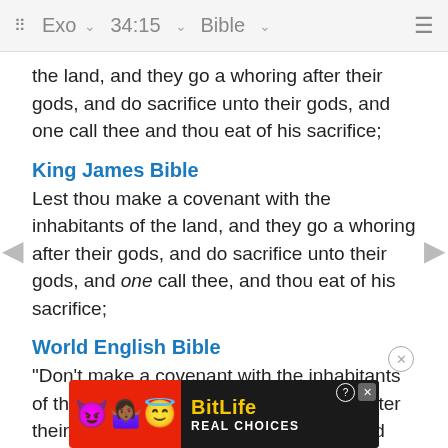Exo 34:15 Bible
the land, and they go a whoring after their gods, and do sacrifice unto their gods, and one call thee and thou eat of his sacrifice;
King James Bible
Lest thou make a covenant with the inhabitants of the land, and they go a whoring after their gods, and do sacrifice unto their gods, and one call thee, and thou eat of his sacrifice;
World English Bible
"Don't make a covenant with the inhabitants of the land, lest they play the prostitute after their gods, and sacrifice to their gods, and one call you and you eat of his sacrifice;
Youn
Lest t... of the land